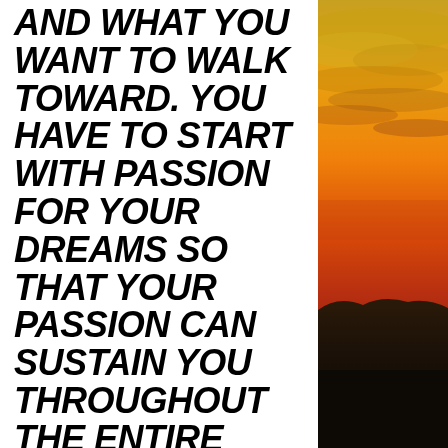AND WHAT YOU WANT TO WALK TOWARD. YOU HAVE TO START WITH PASSION FOR YOUR DREAMS SO THAT YOUR PASSION CAN SUSTAIN YOU THROUGHOUT THE ENTIRE JOURNEY.
Along that path there will be challenges, I can guarantee that. People
[Figure (photo): Sunset landscape photo showing sky with orange, red, and golden hues above a darkened mountain silhouette horizon]